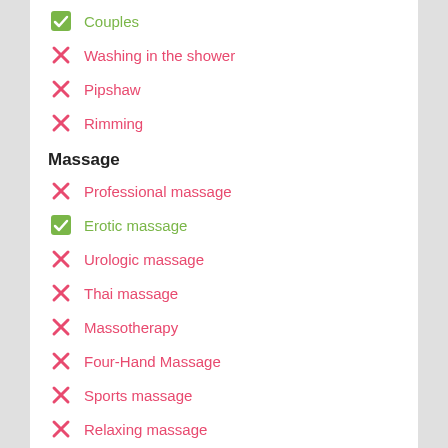✔ Couples
✗ Washing in the shower
✗ Pipshaw
✗ Rimming
Massage
✗ Professional massage
✔ Erotic massage
✗ Urologic massage
✗ Thai massage
✗ Massotherapy
✗ Four-Hand Massage
✗ Sports massage
✗ Relaxing massage
✗ Sakura Branch
Striptease
✔ Striptease
✗ Belly dance